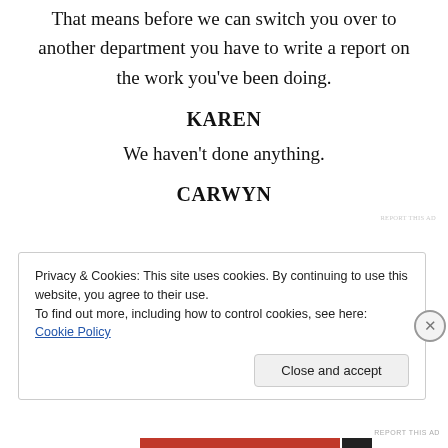That means before we can switch you over to another department you have to write a report on the work you've been doing.
KAREN
We haven't done anything.
CARWYN
Privacy & Cookies: This site uses cookies. By continuing to use this website, you agree to their use.
To find out more, including how to control cookies, see here: Cookie Policy
REPORT THIS AD